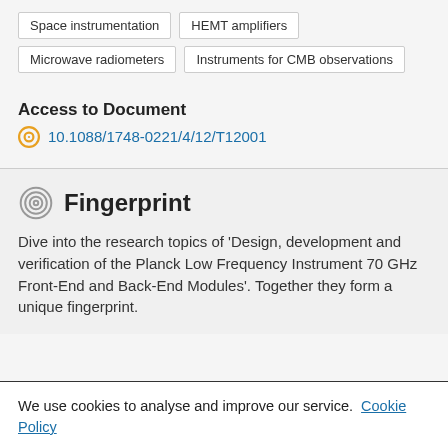Space instrumentation
HEMT amplifiers
Microwave radiometers
Instruments for CMB observations
Access to Document
10.1088/1748-0221/4/12/T12001
Fingerprint
Dive into the research topics of 'Design, development and verification of the Planck Low Frequency Instrument 70 GHz Front-End and Back-End Modules'. Together they form a unique fingerprint.
We use cookies to analyse and improve our service. Cookie Policy